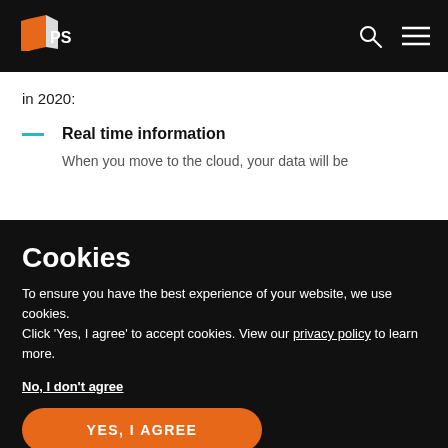[Figure (logo): APS logo — book icon in orange/white with text 'APS' on black navigation bar]
in 2020:
Real time information
When you move to the cloud, your data will be
Cookies
To ensure you have the best experience of your website, we use cookies.
Click ‘Yes, I agree’ to accept cookies. View our privacy policy to learn more.
No, I don't agree
YES, I AGREE